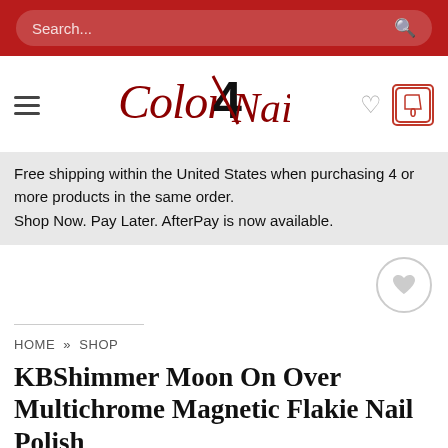Search...
[Figure (logo): Color4Nails logo in red italic cursive script with a bold black number 4]
Free shipping within the United States when purchasing 4 or more products in the same order.
Shop Now. Pay Later. AfterPay is now available.
HOME » SHOP
KBShimmer Moon On Over Multichrome Magnetic Flakie Nail Polish